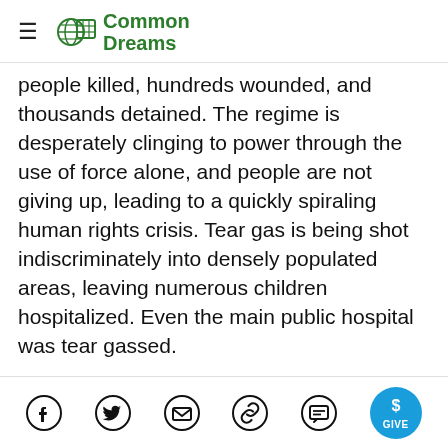Common Dreams
people killed, hundreds wounded, and thousands detained. The regime is desperately clinging to power through the use of force alone, and people are not giving up, leading to a quickly spiraling human rights crisis. Tear gas is being shot indiscriminately into densely populated areas, leaving numerous children hospitalized. Even the main public hospital was tear gassed.
But Hondurans have not given up, and are stepping up their struggle. The least we can do as a starting point is to pay attention. Here are
Social share icons: Facebook, Twitter, Email, Link, Comment, Give